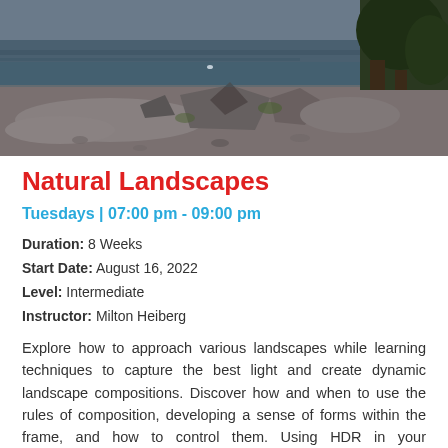[Figure (photo): Coastal rocky landscape with water, rocks, and trees in the background]
Natural Landscapes
Tuesdays | 07:00 pm - 09:00 pm
Duration: 8 Weeks
Start Date: August 16, 2022
Level: Intermediate
Instructor: Milton Heiberg
Explore how to approach various landscapes while learning techniques to capture the best light and create dynamic landscape compositions. Discover how and when to use the rules of composition, developing a sense of forms within the frame, and how to control them. Using HDR in your landscapes is also covered. Zoom class activities are reinforced with instructor-led field